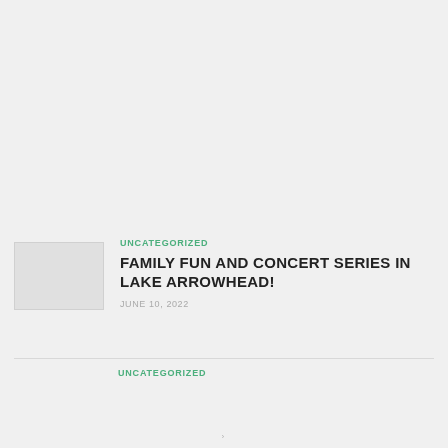UNCATEGORIZED
FAMILY FUN AND CONCERT SERIES IN LAKE ARROWHEAD!
JUNE 10, 2022
UNCATEGORIZED